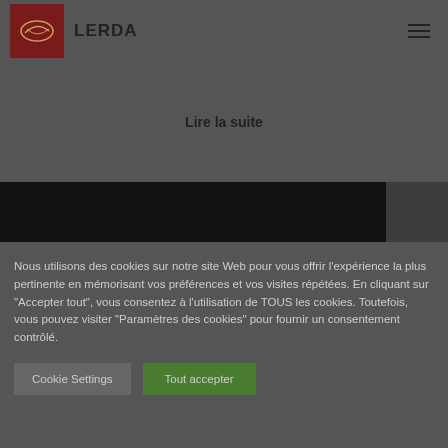LERDA
Lire la suite
[Figure (photo): Dark banner image or video thumbnail spanning most of the page width]
Nous utilisons des cookies sur notre site Web pour vous offrir l'expérience la plus pertinente en mémorisant vos préférences et vos visites répétées. En cliquant sur "Accepter tout", vous consentez à l'utilisation de TOUS les cookies. Toutefois, vous pouvez visiter "Paramètres des cookies" pour fournir un consentement contrôlé.
Cookie Settings
Tout accepter